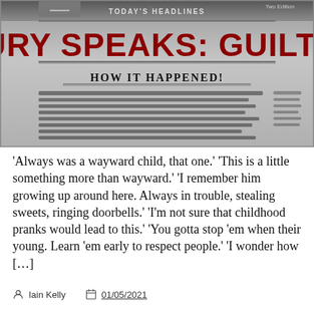[Figure (photo): Photograph of a newspaper front page with headline 'JURY SPEAKS: GUILTY!' in large dark red bold text, subheadline 'HOW IT HAPPENED!', and 'TODAY'S HEADLINES' at top. Body text is blurred/out of focus.]
'Always was a wayward child, that one.' 'This is a little something more than wayward.' 'I remember him growing up around here. Always in trouble, stealing sweets, ringing doorbells.' 'I'm not sure that childhood pranks would lead to this.' 'You gotta stop 'em when their young. Learn 'em early to respect people.' 'I wonder how […]
Iain Kelly   01/05/2021